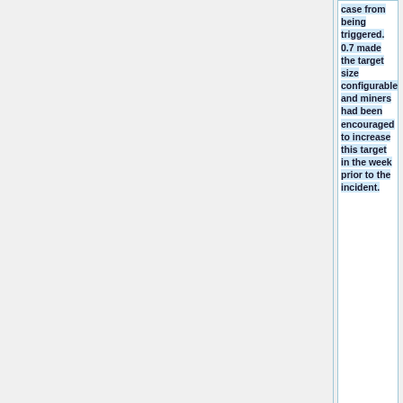case from being triggered. 0.7 made the target size configurable and miners had been encouraged to increase this target in the week prior to the incident.
Bitcoin 0.8 did not use Berkeley DB. It switched to LevelDB instead, which did not implement the same locking